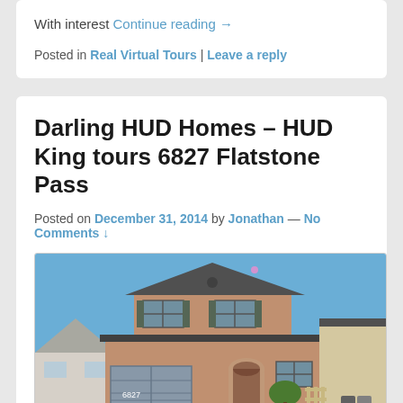With interest Continue reading →
Posted in Real Virtual Tours | Leave a reply
Darling HUD Homes – HUD King tours 6827 Flatstone Pass
Posted on December 31, 2014 by Jonathan — No Comments ↓
[Figure (photo): Exterior photo of a two-story brick HUD home at 6827 Flatstone Pass, with a two-car garage, arched front entry, blue sky background.]
Current list Price: $99,000  Bedrooms: 3  Bathrooms: